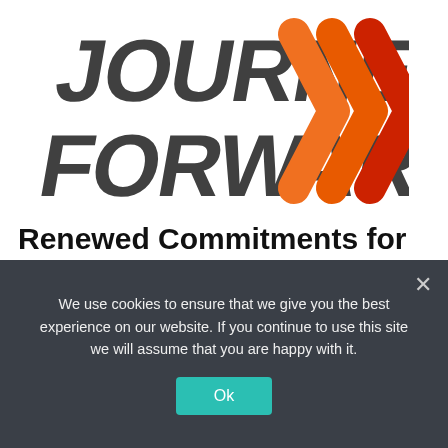[Figure (logo): Journey Forward logo with italic stacked text 'JOURNEY FORWARD' in dark gray and three orange/red chevron arrows pointing right]
Renewed Commitments for the Journey Forward released
We use cookies to ensure that we give you the best experience on our website. If you continue to use this site we will assume that you are happy with it.
Ok